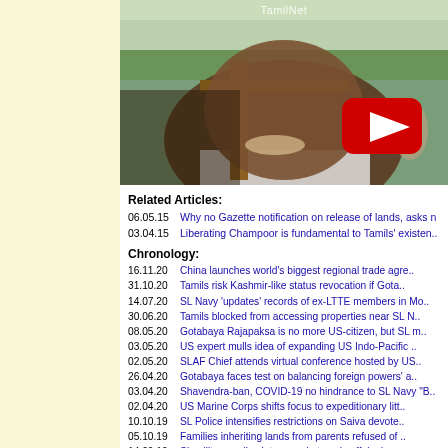[Figure (screenshot): Video thumbnail showing a man outdoors with trees in background, YouTube play button overlay, and 'Tamil Net' watermark at top]
Related Articles:
06.05.15   Why no Gazette notification on release of lands, asks n
03.04.15   Liberating Champoor is fundamental to Tamils' existen..
Chronology:
16.11.20   China launches world's biggest regional trade agre..
31.10.20   Tamils risk Kashmir-like status revocation if Gota..
14.07.20   SL Navy 'updates' records of ex-LTTE members in Mo..
30.06.20   Tamils blocked from accessing properties near SL N..
08.05.20   Gotabaya Rajapaksa is no more US-citizen, but SL m..
03.05.20   US expert mulls idea of expanding US Indo-Pacific ..
02.05.20   SLAF Chief attends virtual conference hosted by US..
26.04.20   Gotabaya faces test on balancing foreign powers' a..
03.04.20   Shavendra-ban, COVID-19 no hindrance to SL Navy "B..
02.04.20   US Marine Corps shifts focus to expeditionary litt..
10.10.19   SL Police intensifies restrictions on Saiva devote..
05.10.19   Families inheriting lands from parents refused of ..
14.09.19   SL military, police intervene in temple affairs in..